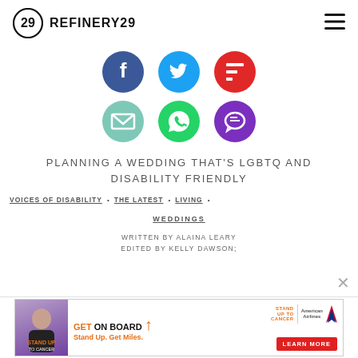REFINERY29
[Figure (other): Social sharing icons row 1: Facebook (dark blue circle), Twitter (cyan circle), Flipboard (red circle)]
[Figure (other): Social sharing icons row 2: Email (teal/mint circle), WhatsApp (green circle), Chat/Messenger (purple circle)]
PLANNING A WEDDING THAT'S LGBTQ AND DISABILITY FRIENDLY
VOICES OF DISABILITY • THE LATEST • LIVING •
WEDDINGS
WRITTEN BY ALAINA LEARY
EDITED BY KELLY DAWSON;
[Figure (other): Advertisement banner: GET ON BOARD - Stand Up to Cancer / American Airlines - LEARN MORE]